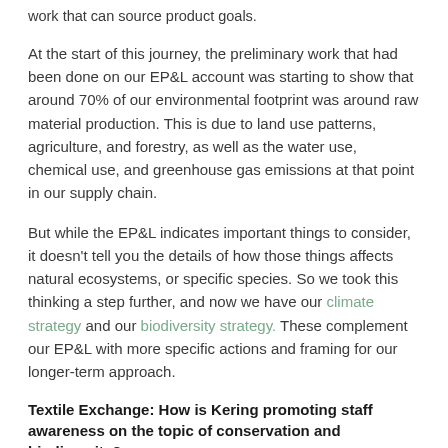…work that can source product goals.
At the start of this journey, the preliminary work that had been done on our EP&L account was starting to show that around 70% of our environmental footprint was around raw material production. This is due to land use patterns, agriculture, and forestry, as well as the water use, chemical use, and greenhouse gas emissions at that point in our supply chain.
But while the EP&L indicates important things to consider, it doesn't tell you the details of how those things affects natural ecosystems, or specific species. So we took this thinking a step further, and now we have our climate strategy and our biodiversity strategy. These complement our EP&L with more specific actions and framing for our longer-term approach.
Textile Exchange: How is Kering promoting staff awareness on the topic of conservation and biodiversity?
Yoann: Awareness around biodiversity is increasing, but nobody really knows what it means for their everyday life or jobs. So, Kering is making sure that everybody understands these connections across